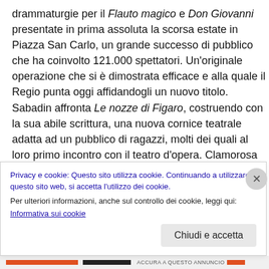drammaturgie per il Flauto magico e Don Giovanni presentate in prima assoluta la scorsa estate in Piazza San Carlo, un grande successo di pubblico che ha coinvolto 121.000 spettatori. Un'originale operazione che si è dimostrata efficace e alla quale il Regio punta oggi affidandogli un nuovo titolo. Sabadin affronta Le nozze di Figaro, costruendo con la sua abile scrittura, una nuova cornice teatrale adatta ad un pubblico di ragazzi, molti dei quali al loro primo incontro con il teatro d'opera. Clamorosa fu l'accoglienza anche per il Flauto magico all'interno della precedente Stagione de La Scuola
Privacy e cookie: Questo sito utilizza cookie. Continuando a utilizzare questo sito web, si accetta l'utilizzo dei cookie. Per ulteriori informazioni, anche sul controllo dei cookie, leggi qui: Informativa sui cookie
Chiudi e accetta